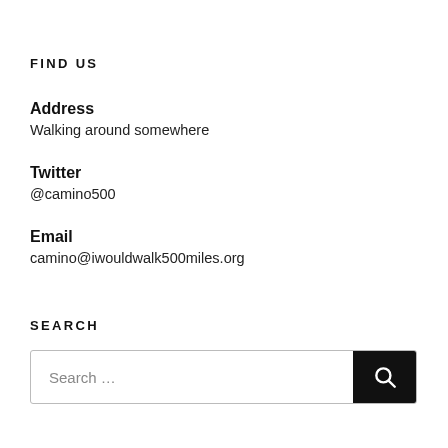FIND US
Address
Walking around somewhere
Twitter
@camino500
Email
camino@iwouldwalk500miles.org
SEARCH
Search …